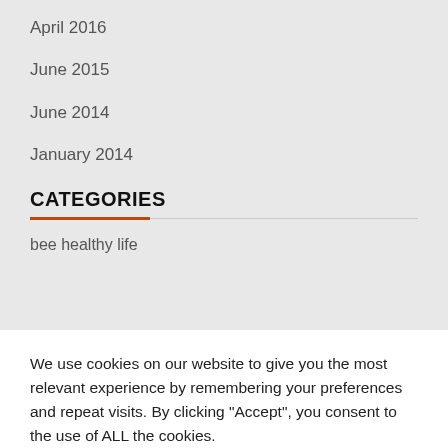April 2016
June 2015
June 2014
January 2014
CATEGORIES
bee healthy life
We use cookies on our website to give you the most relevant experience by remembering your preferences and repeat visits. By clicking “Accept”, you consent to the use of ALL the cookies.
Cookie settings
ACCEPT